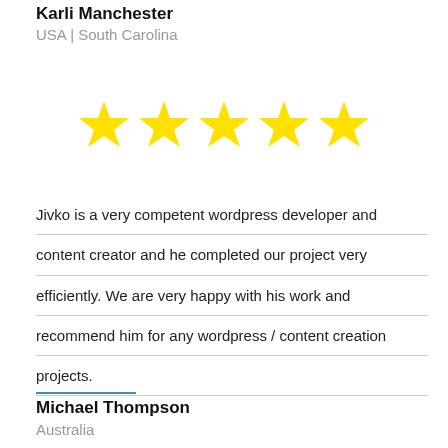Karli Manchester
USA | South Carolina
[Figure (other): Five yellow stars rating]
Jivko is a very competent wordpress developer and content creator and he completed our project very efficiently. We are very happy with his work and recommend him for any wordpress / content creation projects.
Michael Thompson
Australia